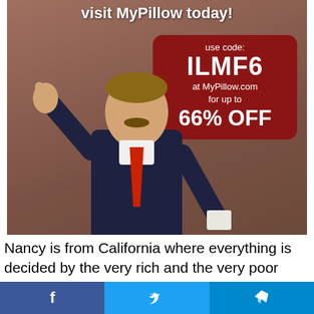[Figure (photo): Advertisement showing a man in a suit with a red tie giving a thumbs up, with a MyPillow promotional overlay showing discount code ILMF6 for 66% OFF at MyPillow.com, and text 'visit MyPillow today!' at the top]
Nancy is from California where everything is decided by the very rich and the very poor (heavy college debt = poor.) She is out-of-touch with real Americans and has no ability to understand why or
[Figure (infographic): Social media share bar with Facebook, Twitter, and Telegram buttons]